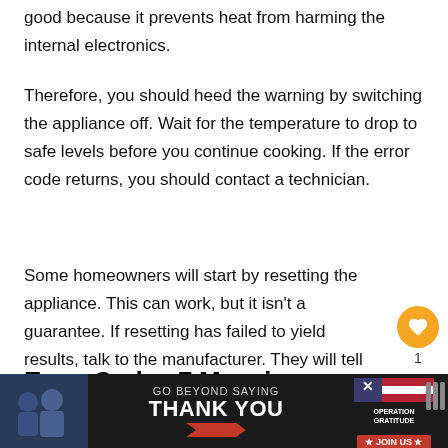good because it prevents heat from harming the internal electronics.
Therefore, you should heed the warning by switching the appliance off. Wait for the temperature to drop to safe levels before you continue cooking. If the error code returns, you should contact a technician.
Some homeowners will start by resetting the appliance. This can work, but it isn't a guarantee. If resetting has failed to yield results, talk to the manufacturer. They will tell you how to proceed.
Error Code e7 Meaning
Ch... is simply pl... st and
[Figure (infographic): Advertisement banner: GO BEYOND SAYING THANK YOU with Operation Gratitude JOIN US logo]